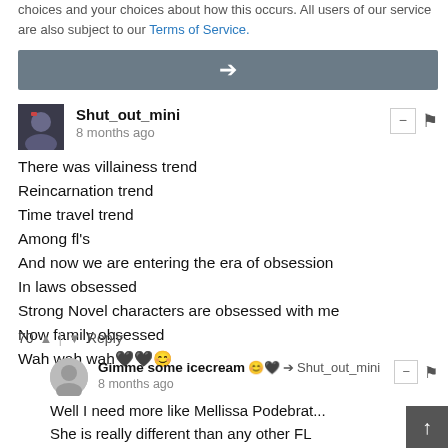choices and your choices about how this occurs. All users of our service are also subject to our Terms of Service.
[Figure (other): Gray arrow bar with right-pointing arrow icon]
Shut_out_mini
8 months ago

There was villainess trend
Reincarnation trend
Time travel trend
Among fl's
And now we are entering the era of obsession
In laws obsessed
Strong Novel characters are obsessed with me
Now family obsessed
Wah wah wah🖤🖤😊
70 ▲ | ▼ Reply
Gimme some icecream 😊🖤 → Shut_out_mini
8 months ago

Well I need more like Mellissa Podebrat...
She is really different than any other FL